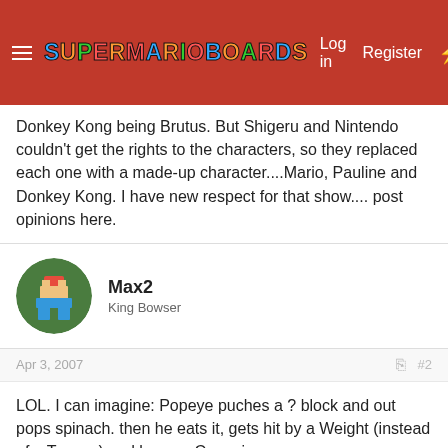Super Mario Boards — Log in | Register
Donkey Kong being Brutus. But Shigeru and Nintendo couldn't get the rights to the characters, so they replaced each one with a made-up character....Mario, Pauline and Donkey Kong. I have new respect for that show.... post opinions here.
Max2
King Bowser
Apr 3, 2007   #2
LOL. I can imagine: Popeye puches a ? block and out pops spinach. then he eats it, gets hit by a Weight (instead of a Twomp) and loses a Can. nice.
Stumpers
Hammer Bro.
Retired Wiki Staff